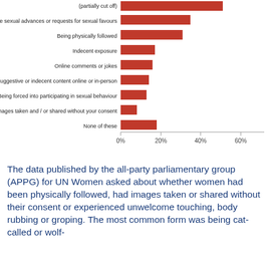[Figure (bar-chart): ]
The data published by the all-party parliamentary group (APPG) for UN Women asked about whether women had been physically followed, had images taken or shared without their consent or experienced unwelcome touching, body rubbing or groping. The most common form was being cat-called or wolf-